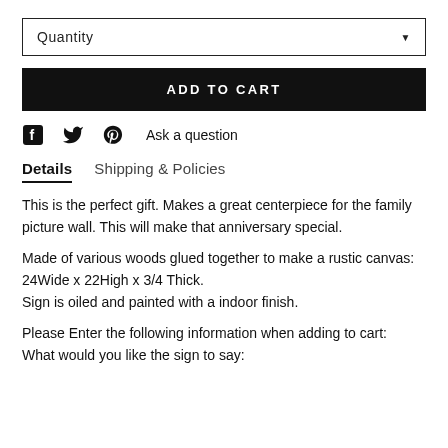Quantity
ADD TO CART
[Figure (infographic): Social sharing icons: Facebook, Twitter, Pinterest, and Ask a question text link]
Details    Shipping & Policies
This is the perfect gift. Makes a great centerpiece for the family picture wall. This will make that anniversary special.
Made of various woods glued together to make a rustic canvas: 24Wide x 22High x 3/4 Thick.
Sign is oiled and painted with a indoor finish.
Please Enter the following information when adding to cart:
What would you like the sign to say: